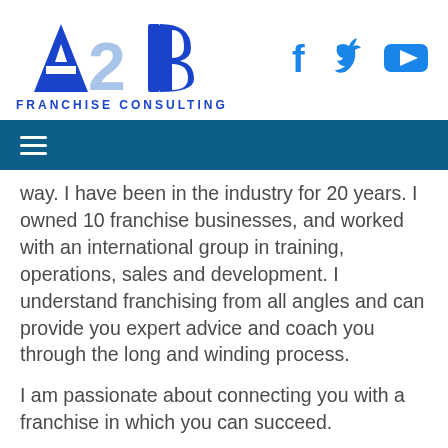[Figure (logo): A2B Franchise Consulting logo with blue triangle/letters and 'FRANCHISE CONSULTING' text below]
[Figure (other): Social media icons: Facebook, Twitter, YouTube in blue]
[Figure (other): Navigation bar with hamburger menu icon on dark blue background]
way. I have been in the industry for 20 years. I owned 10 franchise businesses, and worked with an international group in training, operations, sales and development. I understand franchising from all angles and can provide you expert advice and coach you through the long and winding process.
I am passionate about connecting you with a franchise in which you can succeed.